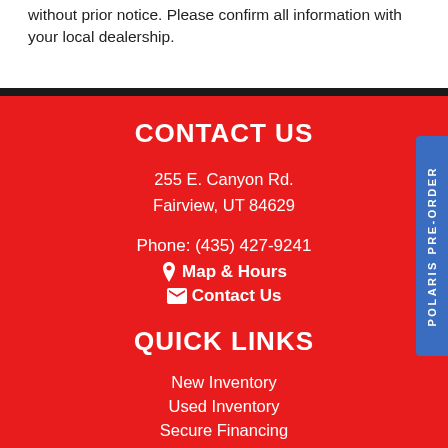without prior notice. Please confirm all information with your local dealership.
CONTACT US
255 E. Canyon Rd.
Fairview, UT 84629
Phone: (435) 427-9241
Map & Hours
Contact Us
QUICK LINKS
New Inventory
Used Inventory
Secure Financing
Parts Department
Service Department